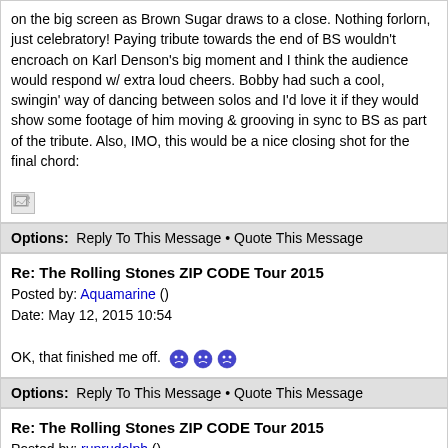on the big screen as Brown Sugar draws to a close. Nothing forlorn, just celebratory! Paying tribute towards the end of BS wouldn't encroach on Karl Denson's big moment and I think the audience would respond w/ extra loud cheers. Bobby had such a cool, swingin' way of dancing between solos and I'd love it if they would show some footage of him moving & grooving in sync to BS as part of the tribute. Also, IMO, this would be a nice closing shot for the final chord:
Options: Reply To This Message • Quote This Message
Re: The Rolling Stones ZIP CODE Tour 2015
Posted by: Aquamarine ()
Date: May 12, 2015 10:54
OK, that finished me off. 😢 😢 😢
Options: Reply To This Message • Quote This Message
Re: The Rolling Stones ZIP CODE Tour 2015
Posted by: runrudolph ()
Date: May 12, 2015 11:03
Quote
71Tele
Hope everyone enjoys the Fvck You Mick Taylor/One Last Cash Grab Tour.
I will!! Not in north or South America, but in Europe 2016, hopefully !!!
Jeroen